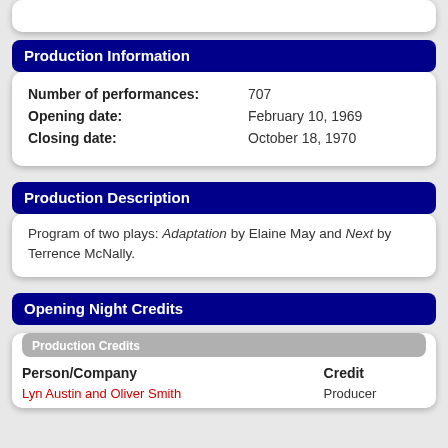Production Information
| Number of performances: | 707 |
| Opening date: | February 10, 1969 |
| Closing date: | October 18, 1970 |
Production Description
Program of two plays: Adaptation by Elaine May and Next by Terrence McNally.
Opening Night Credits
Production Credits
| Person/Company | Credit |
| --- | --- |
| Lyn Austin and Oliver Smith | Producer |